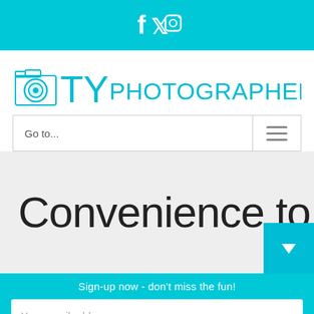[Figure (other): Cyan top bar with Facebook, Twitter, and Instagram social media icons in white]
[Figure (logo): Toy Photographers logo: camera icon with 'TOY' in cyan letters followed by 'PHOTOGRAPHERS' in cyan text]
Go to...
Convenience to
Sign-up now - don't miss the fun!
Your email address..
Subscribe